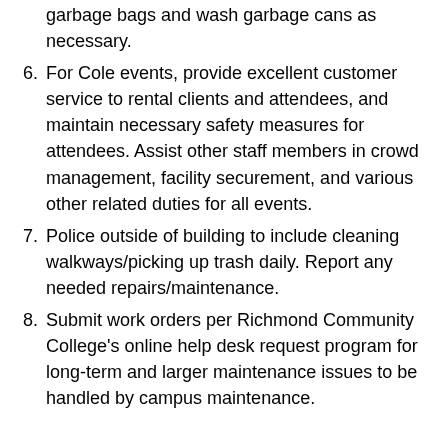garbage bags and wash garbage cans as necessary.
6. For Cole events, provide excellent customer service to rental clients and attendees, and maintain necessary safety measures for attendees. Assist other staff members in crowd management, facility securement, and various other related duties for all events.
7. Police outside of building to include cleaning walkways/picking up trash daily. Report any needed repairs/maintenance.
8. Submit work orders per Richmond Community College’s online help desk request program for long-term and larger maintenance issues to be handled by campus maintenance.